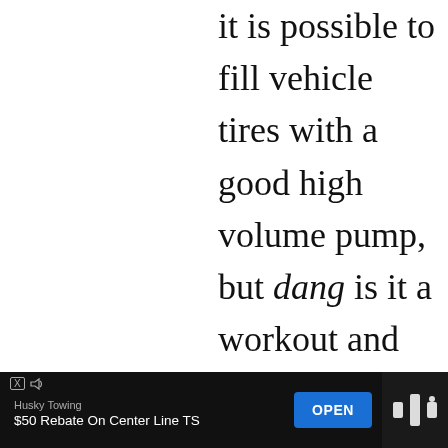it is possible to fill vehicle tires with a good high volume pump, but dang is it a workout and you'll need second breakfast to make up for the calorie loss.
Rely on gas stations and garages. This isn't always convenient, and often you cannot fill your tires properly (we'll cover that shortly).
WHAT'S NEXT → Best Teardrop Trailer...
Husky Towing $50 Rebate On Center Line TS